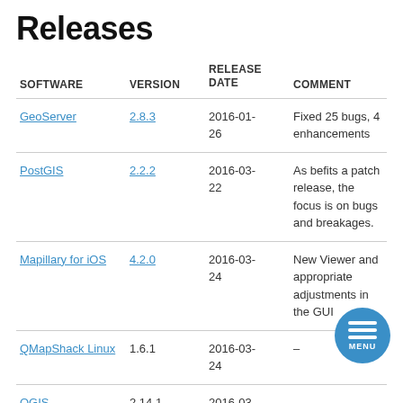Releases
| SOFTWARE | VERSION | RELEASE DATE | COMMENT |
| --- | --- | --- | --- |
| GeoServer | 2.8.3 | 2016-01-26 | Fixed 25 bugs, 4 enhancements |
| PostGIS | 2.2.2 | 2016-03-22 | As befits a patch release, the focus is on bugs and breakages. |
| Mapillary for iOS | 4.2.0 | 2016-03-24 | New Viewer and appropriate adjustments in the GUI |
| QMapShack Linux | 1.6.1 | 2016-03-24 | – |
| QGIS | 2.14.1 | 2016-03- | – |